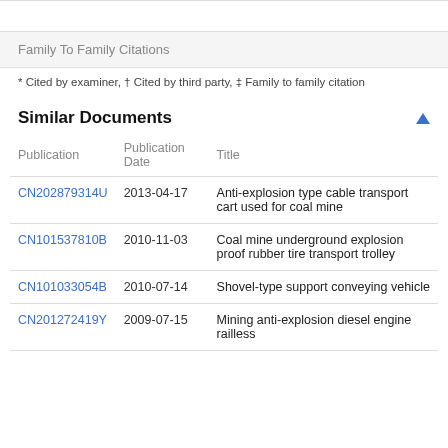Family To Family Citations
* Cited by examiner, † Cited by third party, ‡ Family to family citation
Similar Documents
| Publication | Publication Date | Title |
| --- | --- | --- |
| CN202879314U | 2013-04-17 | Anti-explosion type cable transport cart used for coal mine |
| CN101537810B | 2010-11-03 | Coal mine underground explosion proof rubber tire transport trolley |
| CN101033054B | 2010-07-14 | Shovel-type support conveying vehicle |
| CN201272419Y | 2009-07-15 | Mining anti-explosion diesel engine railless |